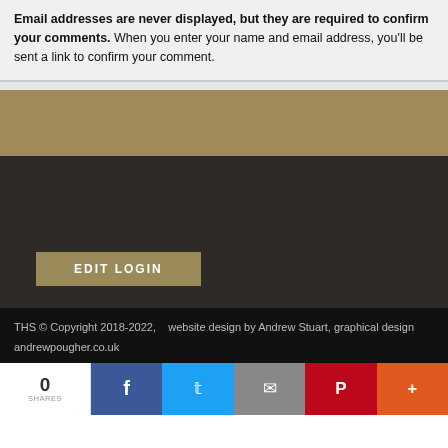Email addresses are never displayed, but they are required to confirm your comments. When you enter your name and email address, you'll be sent a link to confirm your comment.
[Figure (screenshot): Tan/beige colored banner section]
[Figure (screenshot): Dark brown textured background section with EDIT LOGIN button]
THS © Copyright 2018-2022,   website design by Andrew Stuart, graphical design andrewpougher.co.uk
[Figure (infographic): Social share bar with count 0 SHARES, Facebook, Twitter, Mail, Pinterest, More buttons]